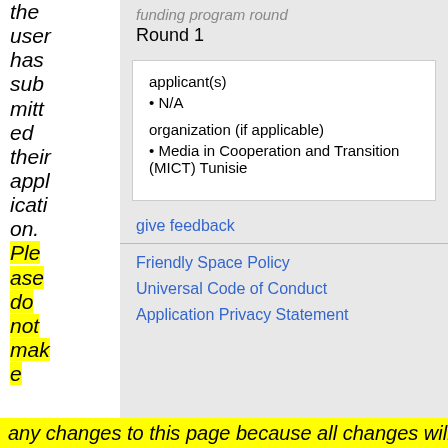the user has submitted their application. Please do not make
funding program round
Round 1
applicant(s)
• N/A
organization (if applicable)
• Media in Cooperation and Transition (MICT) Tunisie
give feedback
Friendly Space Policy
Universal Code of Conduct
Application Privacy Statement
any changes to this page because all changes will be